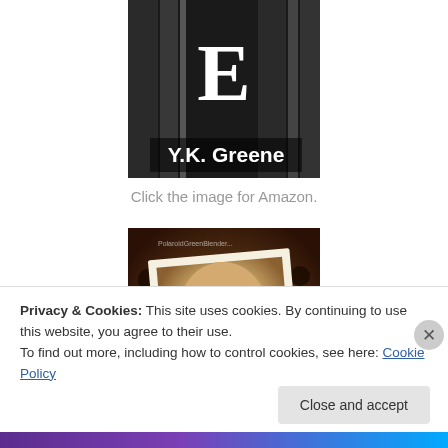[Figure (illustration): Book cover image showing dark background with large letter E and text 'Y.K. Greene' at the bottom in white bold font]
Click the image for Amazon.
[Figure (photo): Sepia-toned photo of a child's face with an excited expression, shown as a Polaroid-style photo on a dark brown background with decorative elements]
Privacy & Cookies: This site uses cookies. By continuing to use this website, you agree to their use.
To find out more, including how to control cookies, see here: Cookie Policy
Close and accept